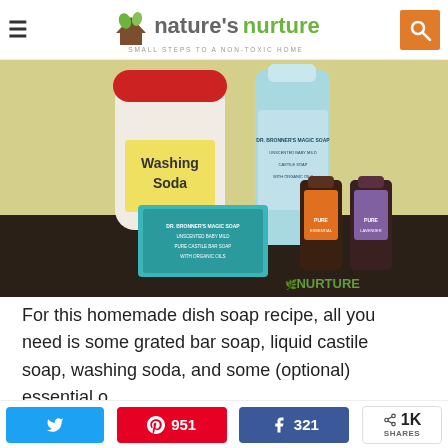nature's nurture — SMALL STEPS TO A NON-TOXIC HOME
[Figure (photo): Homemade dish soap ingredients: a container labeled 'Washing Soda' with a red lid, a bottle of Dr. Bronner's liquid castile soap, a bar of Dr. Bronner's soap in teal packaging, and two small essential oil bottles. Watermark reads NURTURE.]
For this homemade dish soap recipe, all you need is some grated bar soap, liquid castile soap, washing soda, and some (optional) essential o…
Twitter share | Pinterest 951 | Facebook 321 | Share 1K SHARES